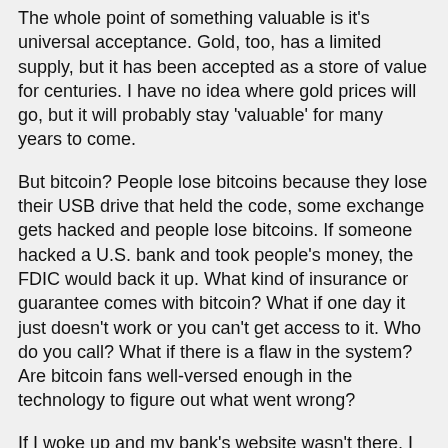The whole point of something valuable is it's universal acceptance. Gold, too, has a limited supply, but it has been accepted as a store of value for centuries. I have no idea where gold prices will go, but it will probably stay 'valuable' for many years to come.
But bitcoin? People lose bitcoins because they lose their USB drive that held the code, some exchange gets hacked and people lose bitcoins. If someone hacked a U.S. bank and took people's money, the FDIC would back it up. What kind of insurance or guarantee comes with bitcoin? What if one day it just doesn't work or you can't get access to it. Who do you call? What if there is a flaw in the system? Are bitcoin fans well-versed enough in the technology to figure out what went wrong?
If I woke up and my bank's website wasn't there, I can walk to a branch. If the branch isn't there, I can go to another branch, or the headquarters office. If it's not there, I can call the State bank regulator or other regulator to ask what happened and try to retrieve my money.